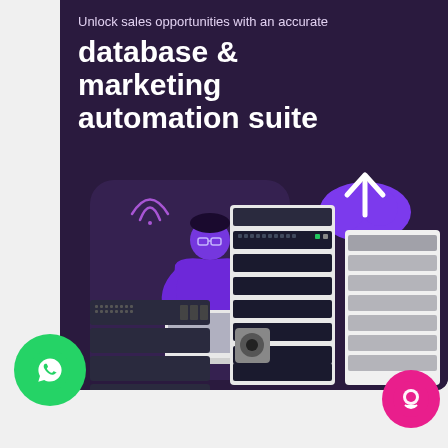Unlock sales opportunities with an accurate
database & marketing automation suite
KNOW MORE
[Figure (illustration): Marketing technology illustration showing a developer in purple hoodie working on laptop connected to server racks, with a purple cloud upload icon above, representing database and marketing automation suite]
[Figure (logo): Green WhatsApp circular button at bottom left]
[Figure (logo): Pink/magenta circular chat button at bottom right]